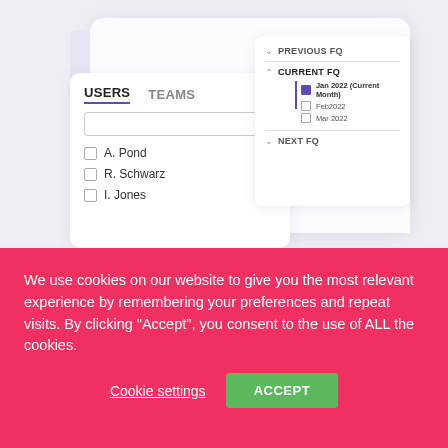[Figure (screenshot): A UI mockup showing a Users/Teams panel with a search box and user list (A. Pond, R. Schwarz, I. Jones), and a floating date filter panel showing PREVIOUS FQ, CURRENT FQ (with Jan 2022 Current Month checked, Feb2022, Mar 2022), and NEXT FQ options.]
We use cookies on our website to give you the most relevant experience by remembering your preferences and repeat visits. By clicking “Accept”, you consent to the use of ALL the cookies.
Cookie settings
ACCEPT